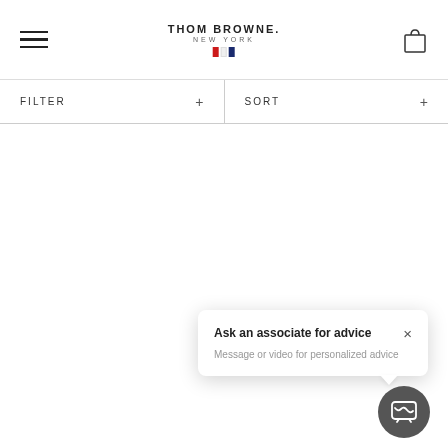THOM BROWNE. NEW YORK
FILTER + | SORT +
Ask an associate for advice
Message or video for personalized advice